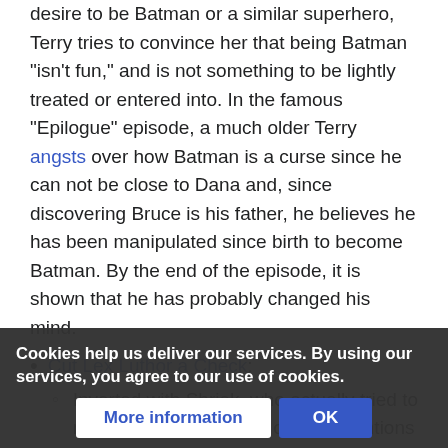desire to be Batman or a similar superhero, Terry tries to convince her that being Batman "isn't fun," and is not something to be lightly treated or entered into. In the famous "Epilogue" episode, a much older Terry angsts over how Batman is a curse since he can not be close to Dana and, since discovering Bruce is his father, he believes he has been manipulated since birth to become Batman. By the end of the episode, it is shown that he has probably changed his mind.
Cut Lex Luthor a Check:
Inverted with Shriek, who actually tried to make legitimate money off his inventions and became a criminal in order to secure funding for his research.
Played straight with Spellbinder, the man has mind control technology, yet his plans seem to be to brainwa... that must have them actually...
Cookies help us deliver our services. By using our services, you agree to our use of cookies.